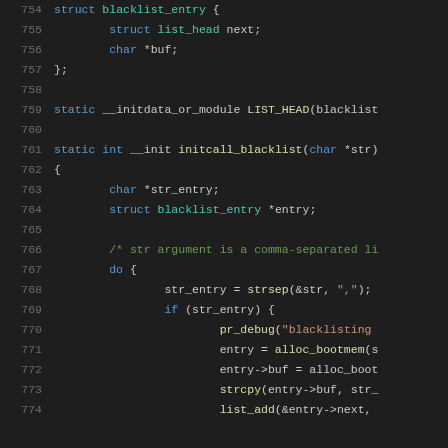[Figure (screenshot): Source code listing in a dark-themed code editor showing C kernel code lines 754–774, with syntax highlighting. Lines show struct blacklist_entry definition, LIST_HEAD macro, and initcall_blacklist function implementation.]